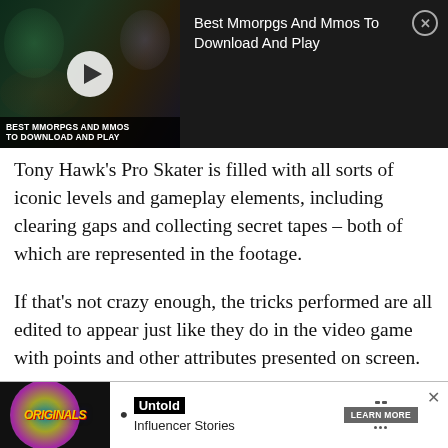[Figure (screenshot): Video ad banner showing MMORPG game footage with play button overlay. Text reads 'BEST MMORPGS AND MMOS TO DOWNLOAD AND PLAY' at bottom. Right side shows title 'Best Mmorpgs And Mmos To Download And Play' with close button (X).]
Tony Hawk's Pro Skater is filled with all sorts of iconic levels and gameplay elements, including clearing gaps and collecting secret tapes – both of which are represented in the footage.
If that's not crazy enough, the tricks performed are all edited to appear just like they do in the video game with points and other attributes presented on screen.
Article continues after ad
[Figure (screenshot): Bottom advertisement banner. Left side shows 'ORIGINALS' logo on dark background. Center shows bullet point, 'Untold' in black box, and 'Influencer Stories' text. Right side shows 'LEARN MORE' button with close X.]